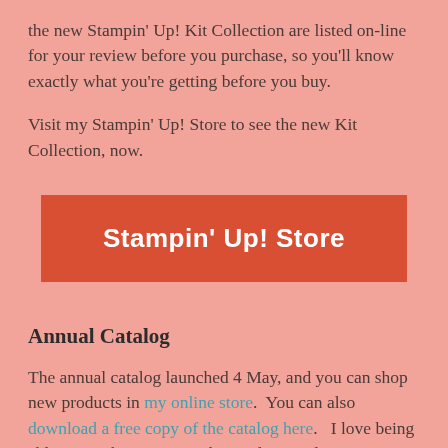the new Stampin' Up! Kit Collection are listed on-line for your review before you purchase, so you'll know exactly what you're getting before you buy.
Visit my Stampin' Up! Store to see the new Kit Collection, now.
[Figure (other): Red button labeled 'Stampin' Up! Store']
Annual Catalog
The annual catalog launched 4 May, and you can shop new products in my online store.  You can also download a free copy of the catalog here.   I love being able to see the images in the catalog up close on my computer.  I'm able to see the details better